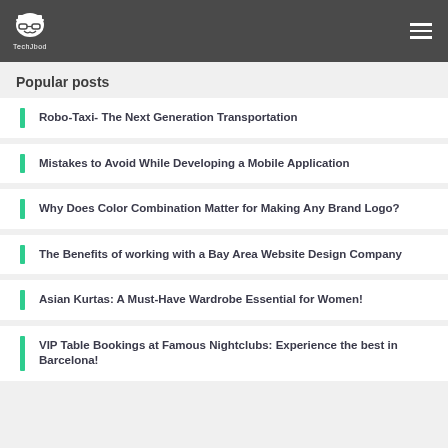TechJbod
Popular posts
Robo-Taxi- The Next Generation Transportation
Mistakes to Avoid While Developing a Mobile Application
Why Does Color Combination Matter for Making Any Brand Logo?
The Benefits of working with a Bay Area Website Design Company
Asian Kurtas: A Must-Have Wardrobe Essential for Women!
VIP Table Bookings at Famous Nightclubs: Experience the best in Barcelona!